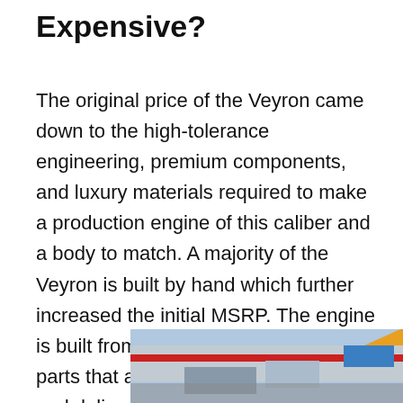Expensive?
The original price of the Veyron came down to the high-tolerance engineering, premium components, and luxury materials required to make a production engine of this caliber and a body to match. A majority of the Veyron is built by hand which further increased the initial MSRP. The engine is built from titanium and aluminum parts that are machined elsewhere and delivered to an engine production room. It takes about a week to produce each engine before it's
[Figure (photo): Advertisement banner showing cargo aircraft being loaded, with text 'WITHOUT REGARD TO' overlaid in white on a blue background.]